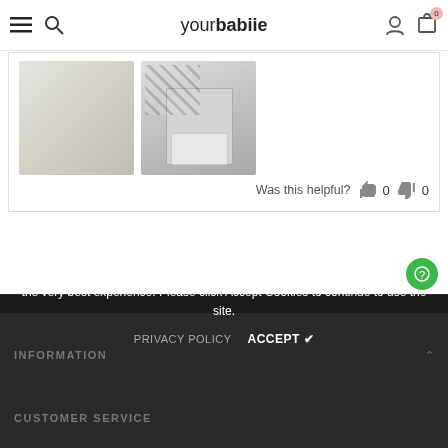yourbabiie — navigation header with hamburger menu, search, logo, user icon, cart (0)
[Figure (photo): Two product review photos: left shows a light-colored tray/surface, right shows a baby high chair with black and white patterned fabric]
Was this helpful? 👍 0 👎 0
[Figure (other): Black scroll-to-top button with upward chevron arrow]
The cookie settings on this website are set to 'allow all cookies' to give you the very best experience. Please click Accept Cookies to continue to use the site.
PRIVACY POLICY   ACCEPT ✔
SHOP
INFORMATION
CUSTOMER SERVICE